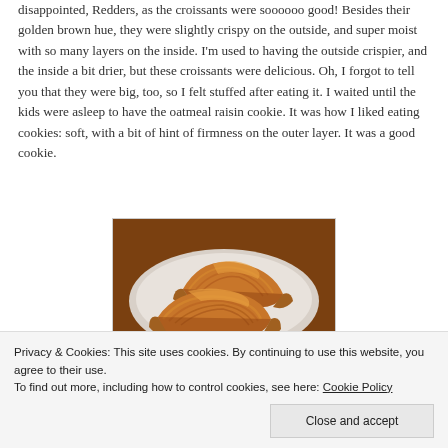disappointed, Redders, as the croissants were soooooo good! Besides their golden brown hue, they were slightly crispy on the outside, and super moist with so many layers on the inside. I'm used to having the outside crispier, and the inside a bit drier, but these croissants were delicious. Oh, I forgot to tell you that they were big, too, so I felt stuffed after eating it. I waited until the kids were asleep to have the oatmeal raisin cookie. It was how I liked eating cookies: soft, with a bit of hint of firmness on the outer layer. It was a good cookie.
[Figure (photo): Photo of golden brown croissants on a white plate, viewed from above at an angle, showing layered flaky pastry texture.]
Privacy & Cookies: This site uses cookies. By continuing to use this website, you agree to their use.
To find out more, including how to control cookies, see here: Cookie Policy